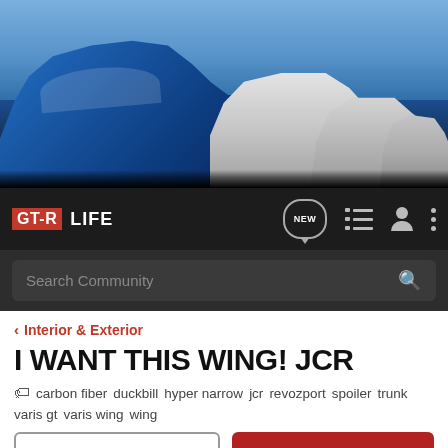[Figure (photo): Banner photo showing multiple Nissan GT-R generations lined up, with a blue R35 GT-R in the foreground and several white GT-R models behind it.]
GT-R LIFE | NEW | navigation icons
Search Community
Interior & Exterior
I WANT THIS WING! JCR
carbon fiber  duckbill  hyper narrow  jcr  revozport  spoiler  trunk  varis gt  varis wing  wing
→ Jump to Latest
+ Follow
1 - 16 of 16 Posts